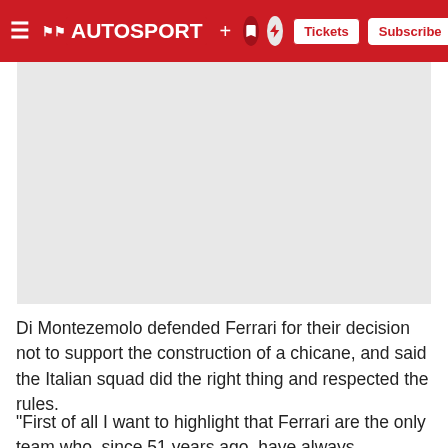AUTOSPORT — Tickets | Subscribe
[Figure (photo): Image placeholder (light grey rectangle, content not visible)]
Di Montezemolo defended Ferrari for their decision not to support the construction of a chicane, and said the Italian squad did the right thing and respected the rules.
"First of all I want to highlight that Ferrari are the only team who, since 51 years ago, have always